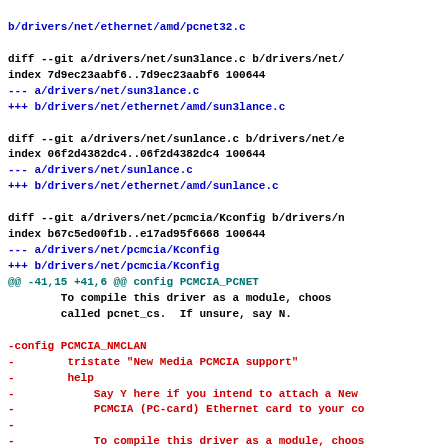diff --git a/drivers/net/sun3lance.c b/drivers/net/
index 7d9ec23aabf6..7d9ec23aabf6 100644
--- a/drivers/net/sun3lance.c
+++ b/drivers/net/ethernet/amd/sun3lance.c
diff --git a/drivers/net/sunlance.c b/drivers/net/e
index 06f2d4382dc4..06f2d4382dc4 100644
--- a/drivers/net/sunlance.c
+++ b/drivers/net/ethernet/amd/sunlance.c
diff --git a/drivers/net/pcmcia/Kconfig b/drivers/n
index b67c5ed00f1b..e17ad95f6668 100644
--- a/drivers/net/pcmcia/Kconfig
+++ b/drivers/net/pcmcia/Kconfig
@@ -41,15 +41,6 @@ config PCMCIA_PCNET
        To compile this driver as a module, choos
        called pcnet_cs.  If unsure, say N.

-config PCMCIA_NMCLAN
-        tristate "New Media PCMCIA support"
-        help
-            Say Y here if you intend to attach a New
-            PCMCIA (PC-card) Ethernet card to your co
-
-            To compile this driver as a module, choos
-            called nmclan_cs.  If unsure, say N.